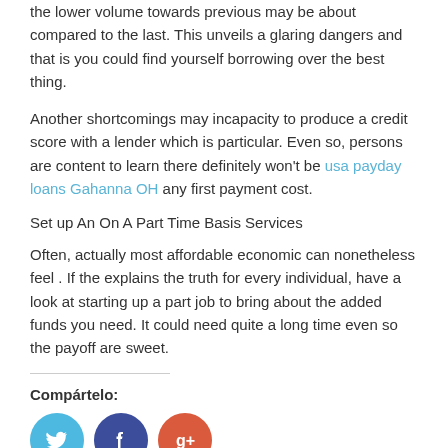the lower volume towards previous may be about compared to the last. This unveils a glaring dangers and that is you could find yourself borrowing over the best thing.
Another shortcomings may incapacity to produce a credit score with a lender which is particular. Even so, persons are content to learn there definitely won't be usa payday loans Gahanna OH any first payment cost.
Set up An On A Part Time Basis Services
Often, actually most affordable economic can nonetheless feel . If the explains the truth for every individual, have a look at starting up a part job to bring about the added funds you need. It could need quite a long time even so the payoff are sweet.
Compártelo:
[Figure (other): Social media sharing icons: Twitter (blue circle), Facebook (dark blue circle), Google+ (red circle)]
4 noviembre, 2021
Deja un comentario